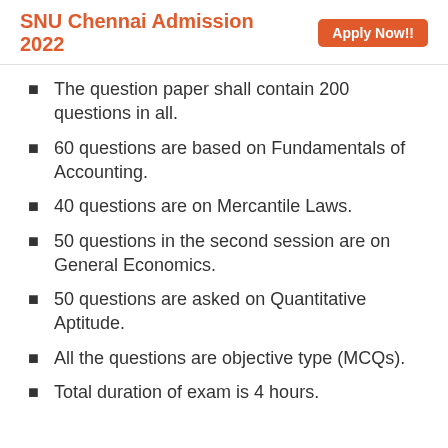SNU Chennai Admission 2022  Apply Now!!
The question paper shall contain 200 questions in all.
60 questions are based on Fundamentals of Accounting.
40 questions are on Mercantile Laws.
50 questions in the second session are on General Economics.
50 questions are asked on Quantitative Aptitude.
All the questions are objective type (MCQs).
Total duration of exam is 4 hours.